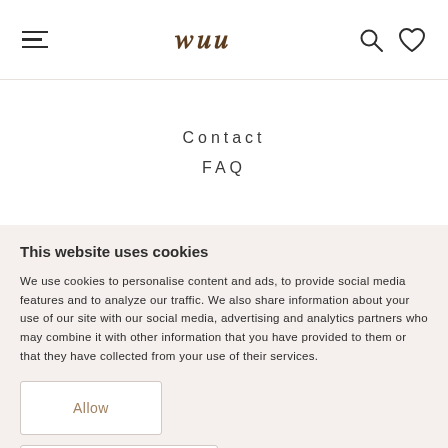Navigation bar with hamburger menu, crown/logo icon, search icon, heart icon
[Figure (illustration): Pink circle decorative element partially visible behind white menu panel]
Contact
FAQ
This website uses cookies
We use cookies to personalise content and ads, to provide social media features and to analyze our traffic. We also share information about your use of our site with our social media, advertising and analytics partners who may combine it with other information that you have provided to them or that they have collected from your use of their services.
Allow
Show details ∨